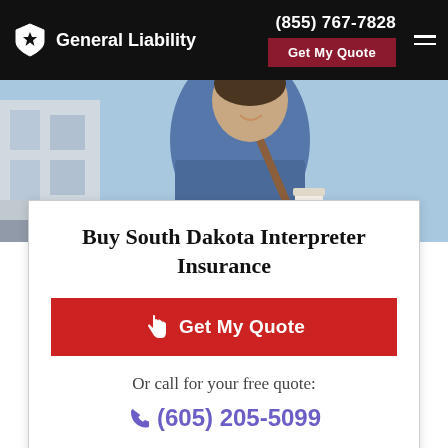General Liability | (855) 767-7828 | Get My Quote
[Figure (photo): Man smiling, wearing a blue jacket and carrying a shoulder bag and coffee cup, photographed outdoors against a bright blue sky and urban building background.]
Buy South Dakota Interpreter Insurance
Get My Quote
Or call for your free quote:
(605) 205-5099